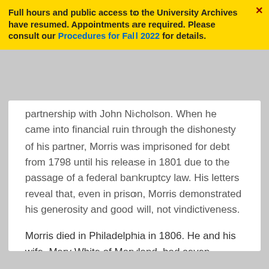Full hours and public access to the University Archives have resumed. Appointments are required. Please consult our Procedures for Fall 2022 for details.
partnership with John Nicholson. When he came into financial ruin through the dishonesty of his partner, Morris was imprisoned for debt from 1798 until his release in 1801 due to the passage of a federal bankruptcy law. His letters reveal that, even in prison, Morris demonstrated his generosity and good will, not vindictiveness.
Morris died in Philadelphia in 1806. He and his wife, Mary White of Maryland, had seven children.